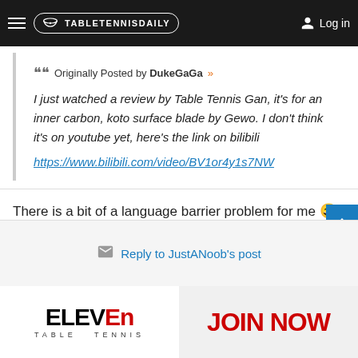TableTennisDaily — Log in
Originally Posted by DukeGaGa »
I just watched a review by Table Tennis Gan, it's for an inner carbon, koto surface blade by Gewo. I don't think it's on youtube yet, here's the link on bilibili
https://www.bilibili.com/video/BV1or4y1s7NW
There is a bit of a language barrier problem for me 😄
I am also waiting for the 301Z, which should be a 301 w zlc. Hopefully the handle is not too thin.
Reply to JustANoob's post
[Figure (logo): Eleven Table Tennis logo and JOIN NOW advertisement banner]